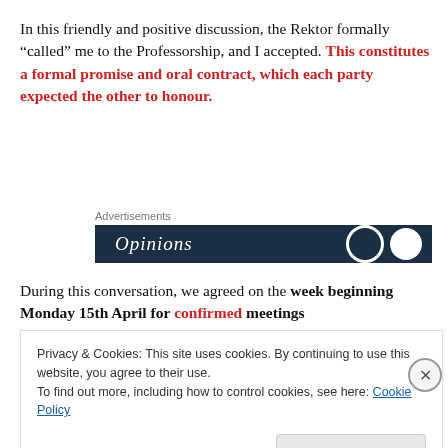In this friendly and positive discussion, the Rektor formally “called” me to the Professorship, and I accepted. This constitutes a formal promise and oral contract, which each party expected the other to honour.
[Figure (other): Advertisements banner showing 'Opinions' text on dark navy background with circular logo elements]
During this conversation, we agreed on the week beginning Monday 15th April for confirmed meetings
Privacy & Cookies: This site uses cookies. By continuing to use this website, you agree to their use.
To find out more, including how to control cookies, see here: Cookie Policy